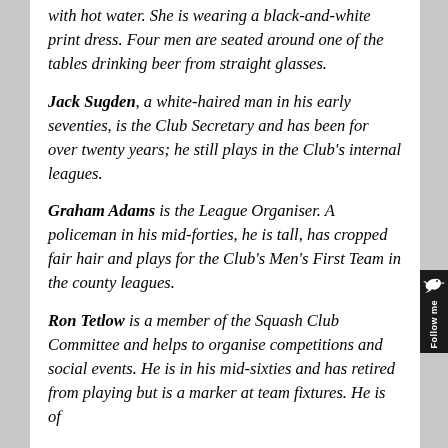with hot water. She is wearing a black-and-white print dress. Four men are seated around one of the tables drinking beer from straight glasses.
Jack Sugden, a white-haired man in his early seventies, is the Club Secretary and has been for over twenty years; he still plays in the Club's internal leagues.
Graham Adams is the League Organiser. A policeman in his mid-forties, he is tall, has cropped fair hair and plays for the Club's Men's First Team in the county leagues.
Ron Tetlow is a member of the Squash Club Committee and helps to organise competitions and social events. He is in his mid-sixties and has retired from playing but is a marker at team fixtures. He is of